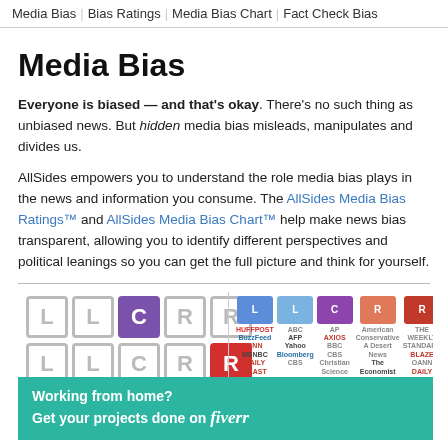Media Bias | Bias Ratings | Media Bias Chart | Fact Check Bias
Media Bias
Everyone is biased — and that's okay. There's no such thing as unbiased news. But hidden media bias misleads, manipulates and divides us.
AllSides empowers you to understand the role media bias plays in the news and information you consume. The AllSides Media Bias Ratings™ and AllSides Media Bias Chart™ help make news bias transparent, allowing you to identify different perspectives and political leanings so you can get the full picture and think for yourself.
[Figure (infographic): Media bias rating chart showing L, L, C, R, R boxes in two rows with media outlet logos arranged by political leaning]
Working from home? Get your projects done on fiverr